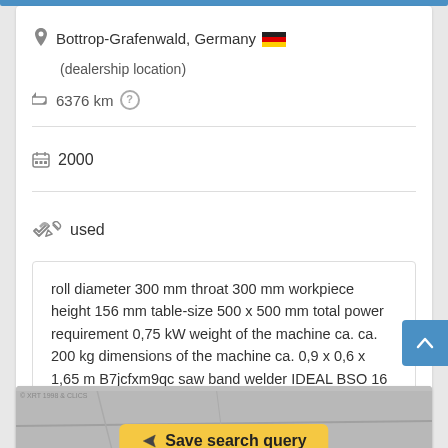Bottrop-Grafenwald, Germany (dealership location)
6376 km
2000
used
roll diameter 300 mm throat 300 mm workpiece height 156 mm table-size 500 x 500 mm total power requirement 0,75 kW weight of the machine ca. ca. 200 kg dimensions of the machine ca. 0,9 x 0,6 x 1,65 m B7jcfxm9qc saw band welder IDEAL BSO 16
Save search query